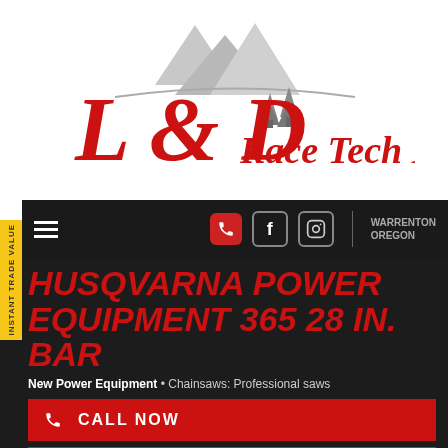[Figure (logo): L & D Race Tech Inc logo with mountain and pine trees silhouette]
WARRENTON OREGON
HUSQVARNA POWER EQUIPMENT 365 28 IN. BAR
New Power Equipment • Chainsaws: Professional saws
CALL NOW
ON SALE
Retail Price: $1,059.99